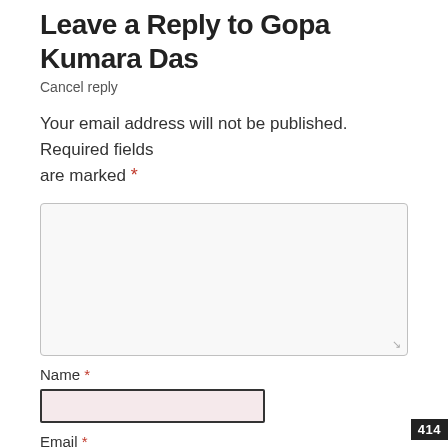Leave a Reply to Gopa Kumara Das
Cancel reply
Your email address will not be published. Required fields are marked *
Name *
Email *
Website
414